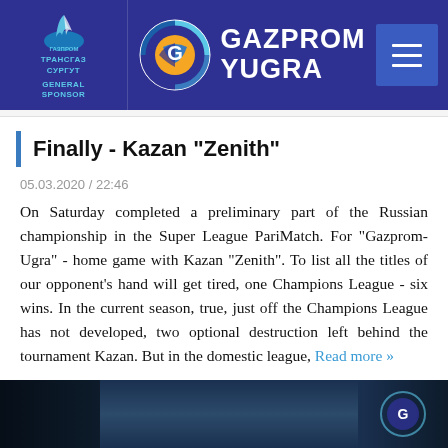GAZPROM YUGRA — GENERAL SPONSOR
Finally - Kazan "Zenith"
05.03.2020 / 22:46
On Saturday completed a preliminary part of the Russian championship in the Super League PariMatch. For "Gazprom-Ugra" - home game with Kazan "Zenith". To list all the titles of our opponent's hand will get tired, one Champions League - six wins. In the current season, true, just off the Champions League has not developed, two optional destruction left behind the tournament Kazan. But in the domestic league, Read more »
[Figure (photo): Partial view of a sports-related photo at the bottom of the page, dark background with figures visible]